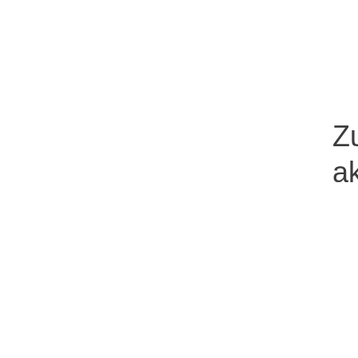Zuletzt aktualisiert: 13.07.
Seite drucken
Andreas Fu...
Kontakt
Impressum
Sitemap
English Index
A...
Z Mobil Datenschutz...